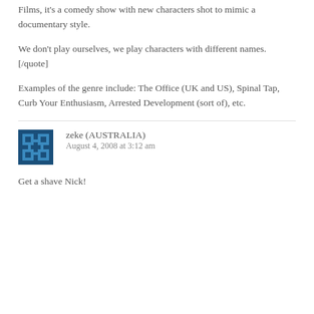Films, it's a comedy show with new characters shot to mimic a documentary style.
We don't play ourselves, we play characters with different names.[/quote]
Examples of the genre include: The Office (UK and US), Spinal Tap, Curb Your Enthusiasm, Arrested Development (sort of), etc.
zeke (AUSTRALIA)
August 4, 2008 at 3:12 am
Get a shave Nick!